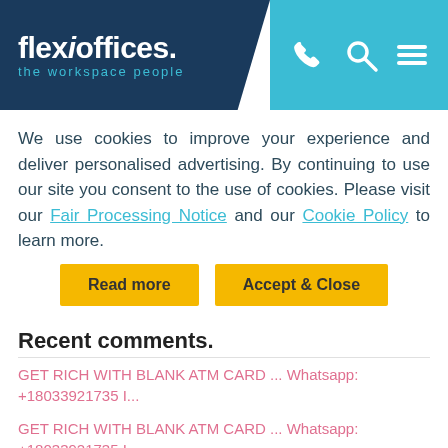[Figure (logo): Flexioffices logo with tagline 'the workspace people' on dark blue background, with phone, search, and menu icons on light blue background]
We use cookies to improve your experience and deliver personalised advertising. By continuing to use our site you consent to the use of cookies. Please visit our Fair Processing Notice and our Cookie Policy to learn more.
Read more | Accept & Close
Recent comments.
GET RICH WITH BLANK ATM CARD ... Whatsapp: +18033921735 I...
GET RICH WITH BLANK ATM CARD ... Whatsapp: +18033921735 I...
GET RICH WITH BLANK ATM CARD ... Whatsapp: +18033921735 I...